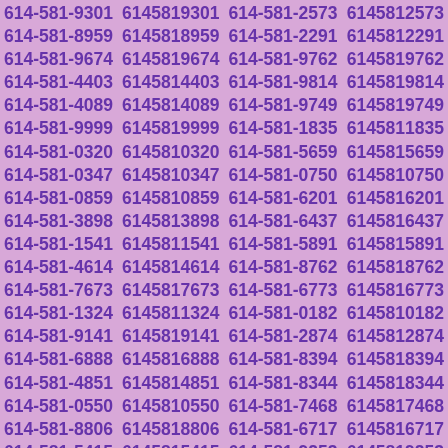614-581-9301 6145819301 614-581-2573 6145812573 614-581-8959 6145818959 614-581-2291 6145812291 614-581-9674 6145819674 614-581-9762 6145819762 614-581-4403 6145814403 614-581-9814 6145819814 614-581-4089 6145814089 614-581-9749 6145819749 614-581-9999 6145819999 614-581-1835 6145811835 614-581-0320 6145810320 614-581-5659 6145815659 614-581-0347 6145810347 614-581-0750 6145810750 614-581-0859 6145810859 614-581-6201 6145816201 614-581-3898 6145813898 614-581-6437 6145816437 614-581-1541 6145811541 614-581-5891 6145815891 614-581-4614 6145814614 614-581-8762 6145818762 614-581-7673 6145817673 614-581-6773 6145816773 614-581-1324 6145811324 614-581-0182 6145810182 614-581-9141 6145819141 614-581-2874 6145812874 614-581-6888 6145816888 614-581-8394 6145818394 614-581-4851 6145814851 614-581-8344 6145818344 614-581-0550 6145810550 614-581-7468 6145817468 614-581-8806 6145818806 614-581-6717 6145816717 614-581-5415 6145815415 614-581-9253 6145819253 614-581-8039 6145818039 614-581-6696 6145816696